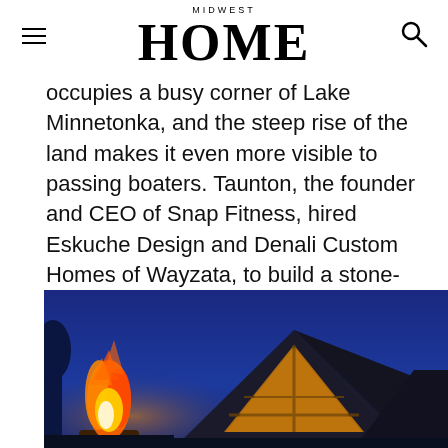MIDWEST HOME
occupies a busy corner of Lake Minnetonka, and the steep rise of the land makes it even more visible to passing boaters. Taunton, the founder and CEO of Snap Fitness, hired Eskuche Design and Denali Custom Homes of Wayzata, to build a stone-clad house at the top of the knoll, with a commanding view and an impressive aspect.
[Figure (photo): Exterior night photo of a home with a fire/bonfire in the foreground and a dramatic roof gable with large windows against a deep blue twilight sky.]